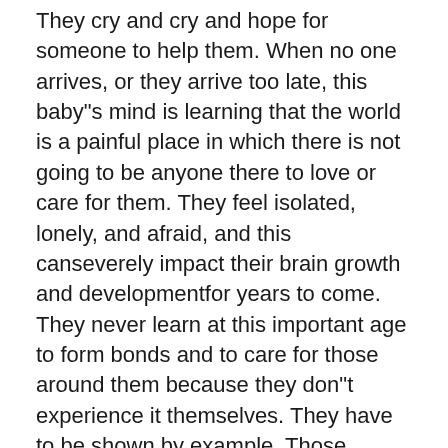They cry and cry and hope for someone to help them. When no one arrives, or they arrive too late, this baby"s mind is learning that the world is a painful place in which there is not going to be anyone there to love or care for them. They feel isolated, lonely, and afraid, and this canseverely impact their brain growth and developmentfor years to come. They never learn at this important age to form bonds and to care for those around them because they don"t experience it themselves. They have to be shown by example. Those infants who are held regularly, played with, and cared for are able to experience deep connections with their parents or caretakers. They grow up with a far more positive world view. They also develop skills to form healthy and appropriate relationships as they grow older and make friends and find even more loved ones.
Those who have gone without learning how to form proper social relationships and who have impaired...